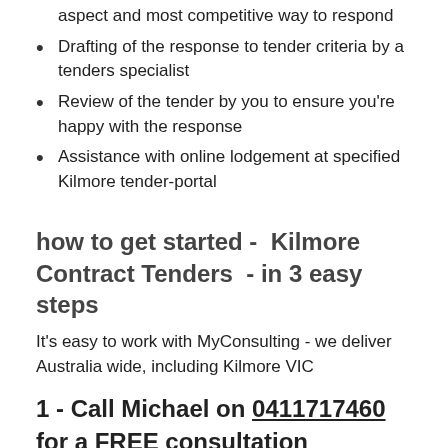aspect and most competitive way to respond
Drafting of the response to tender criteria by a tenders specialist
Review of the tender by you to ensure you're happy with the response
Assistance with online lodgement at specified Kilmore tender-portal
how to get started -  Kilmore Contract Tenders  - in 3 easy steps
It's easy to work with MyConsulting - we deliver Australia wide, including Kilmore VIC
1 - Call Michael on 0411717460 for a FREE consultation
for a quick chat about your projects - he is experienced,